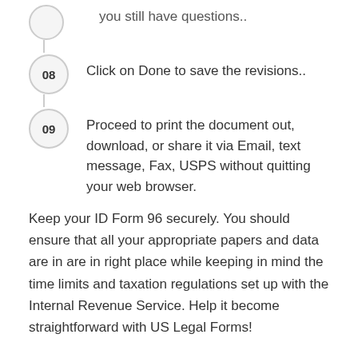you still have questions..
08 Click on Done to save the revisions..
09 Proceed to print the document out, download, or share it via Email, text message, Fax, USPS without quitting your web browser.
Keep your ID Form 96 securely. You should ensure that all your appropriate papers and data are in are in right place while keeping in mind the time limits and taxation regulations set up with the Internal Revenue Service. Help it become straightforward with US Legal Forms!
Get form
Experience a faster way to fill out and sign forms on the web.